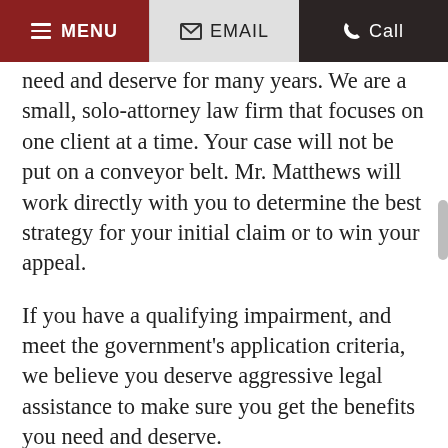MENU | EMAIL | Call
need and deserve for many years. We are a small, solo-attorney law firm that focuses on one client at a time. Your case will not be put on a conveyor belt. Mr. Matthews will work directly with you to determine the best strategy for your initial claim or to win your appeal.
If you have a qualifying impairment, and meet the government's application criteria, we believe you deserve aggressive legal assistance to make sure you get the benefits you need and deserve.